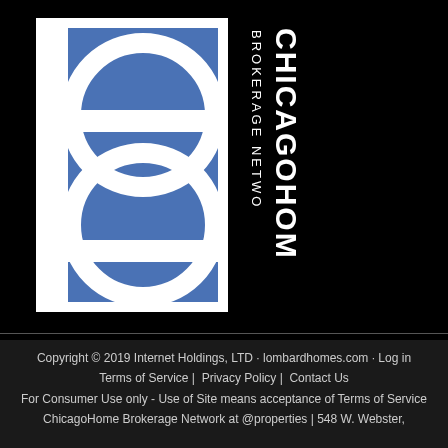[Figure (logo): ChicagoHome Brokerage Network logo: a blue square with white overlapping circles/ring design on the left, and vertical white text reading 'CHICAGOHOME BROKERAGE NETWORK' on the right, all on a black background.]
Copyright © 2019 Internet Holdings, LTD · lombardhomes.com · Log in  Terms of Service |  Privacy Policy |  Contact Us  For Consumer Use only - Use of Site means acceptance of Terms of Service  ChicagoHome Brokerage Network at @properties | 548 W. Webster,